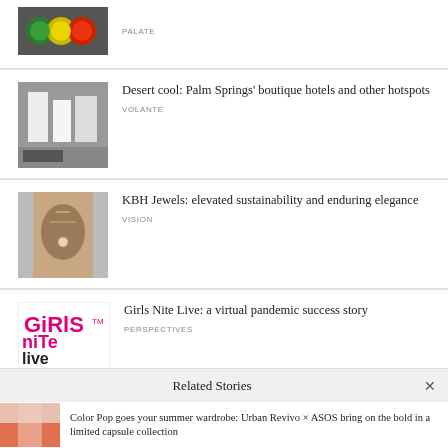[Figure (photo): Colorful circular tops/bottle caps on a surface - PALATE article thumbnail]
PALATE
[Figure (photo): Black and white photo of buildings/silos with a car - VOLANTE article thumbnail]
Desert cool: Palm Springs' boutique hotels and other hotspots
VOLANTE
[Figure (photo): Person wearing jewelry, hands crossed on chest - VISION article thumbnail]
KBH Jewels: elevated sustainability and enduring elegance
VISION
[Figure (logo): Girls Nite Live logo in pink/magenta text]
Girls Nite Live: a virtual pandemic success story
PERSPECTIVES
Related Stories
[Figure (photo): Person in pink/coral clothing - related story thumbnail]
Color Pop goes your summer wardrobe: Urban Revivo × ASOS bring on the bold in a limited capsule collection